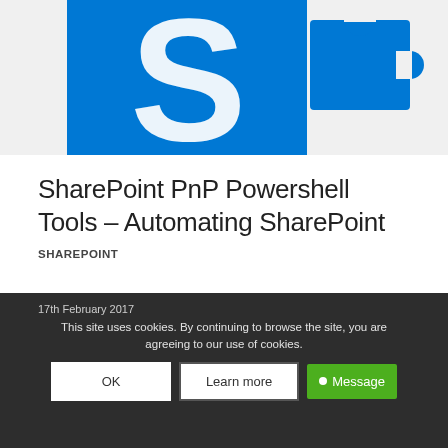[Figure (illustration): SharePoint and puzzle piece logos on light grey background – partial view cropped at top]
SharePoint PnP Powershell Tools – Automating SharePoint
SHAREPOINT
...
17th February 2017
This site uses cookies. By continuing to browse the site, you are agreeing to our use of cookies.
OK | Learn more | Message